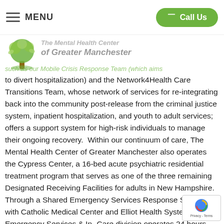MENU | Call Us
[Figure (logo): Mental Health Center of Greater Manchester tree logo with organization name overlay and subtitle text partially visible]
such as our Mobile Crisis Response Team (which aims to divert hospitalization) and the Network4Health Care Transitions Team, whose network of services for re-integrating back into the community post-release from the criminal justice system, inpatient hospitalization, and youth to adult services; offers a support system for high-risk individuals to manage their ongoing recovery.  Within our continuum of care, The Mental Health Center of Greater Manchester also operates the Cypress Center, a 16-bed acute psychiatric residential treatment program that serves as one of the three remaining Designated Receiving Facilities for adults in New Hampshire.  Through a Shared Emergency Services Response System with Catholic Medical Center and Elliot Health System, our Emergency Services & In- Care division operates 24 hours per day, 7 days a week...